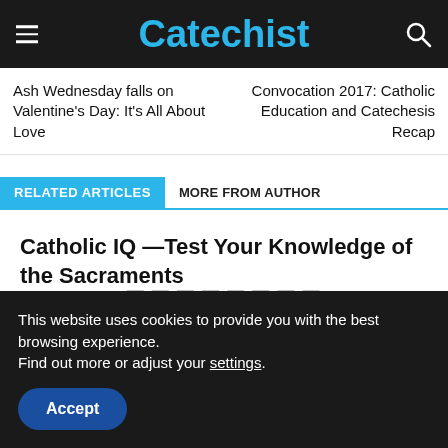Catechist
Ash Wednesday falls on Valentine's Day: It's All About Love
Convocation 2017: Catholic Education and Catechesis Recap
RELATED ARTICLES
MORE FROM AUTHOR
Catholic IQ —Test Your Knowledge of the Sacraments
This website uses cookies to provide you with the best browsing experience. Find out more or adjust your settings.